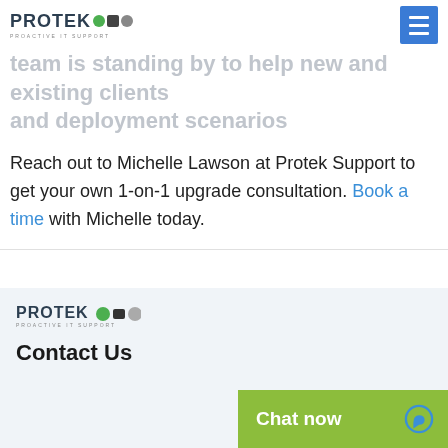PROTEK (logo)
team is standing by to help new and existing clients and deployment scenarios
Reach out to Michelle Lawson at Protek Support to get your own 1-on-1 upgrade consultation. Book a time with Michelle today.
[Figure (logo): Protek logo in footer - PROTEK with colored dots and PROACTIVE IT SUPPORT tagline]
Contact Us
Chat now